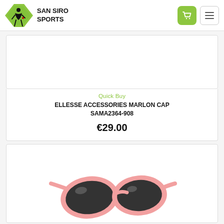[Figure (logo): San Siro Sports logo with green diamond shape, silhouette of person, and bold text 'SAN SIRO SPORTS']
Quick Buy
ELLESSE ACCESSORIES MARLON CAP SAMA2364-908
€29.00
[Figure (photo): Pink oval-framed sunglasses with dark lenses shown from front angle]